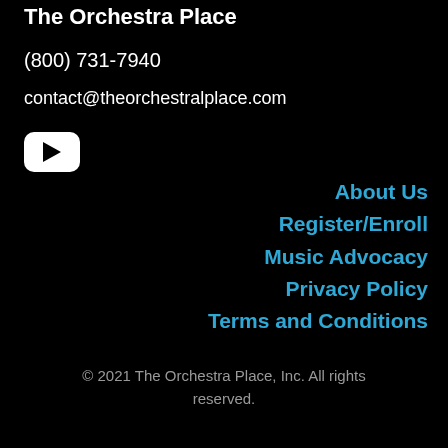The Orchestra Place
(800) 731-7940
contact@theorchestralplace.com
[Figure (logo): YouTube play button icon (white rounded rectangle with black triangle)]
About Us
Register/Enroll
Music Advocacy
Privacy Policy
Terms and Conditions
© 2021 The Orchestra Place, Inc. All rights reserved.